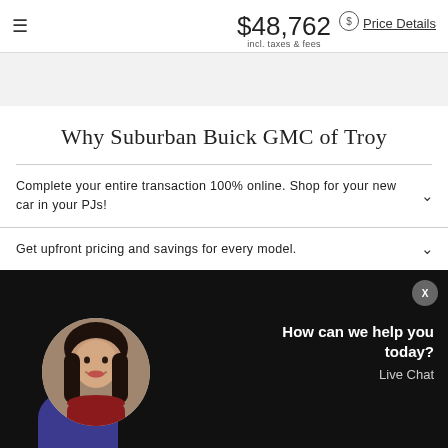$48,762 incl. taxes & fees  Price Details
Why Suburban Buick GMC of Troy
Complete your entire transaction 100% online. Shop for your new car in your PJs!
Get upfront pricing and savings for every model.
[Figure (photo): Live chat widget with smiling woman avatar on dark background. Text reads: How can we help you today? Live Chat. Close button (X) in top right.]